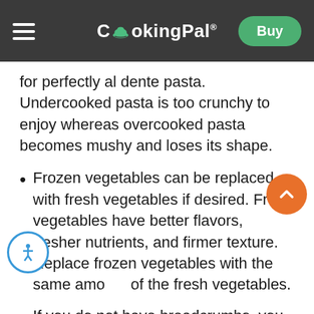CookingPal® — Buy
for perfectly al dente pasta. Undercooked pasta is too crunchy to enjoy whereas overcooked pasta becomes mushy and loses its shape.
Frozen vegetables can be replaced with fresh vegetables if desired. Fresh vegetables have better flavors, fresher nutrients, and firmer texture. Replace frozen vegetables with the same amount of the fresh vegetables.
If you do not have breadcrumbs, you can